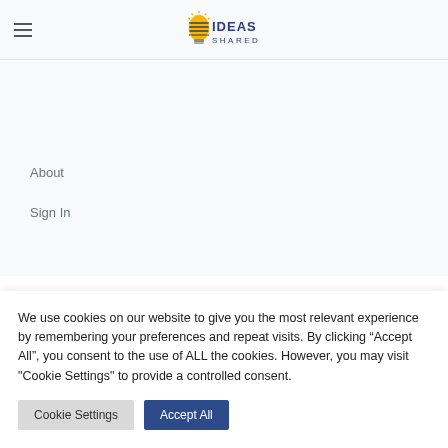IDEAS SHARED
About
Sign In
We use cookies on our website to give you the most relevant experience by remembering your preferences and repeat visits. By clicking “Accept All”, you consent to the use of ALL the cookies. However, you may visit "Cookie Settings" to provide a controlled consent.
Cookie Settings | Accept All